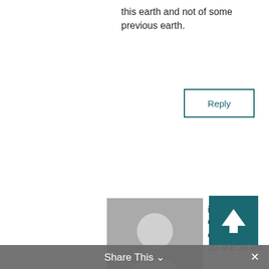this earth and not of some previous earth.
Reply
[Figure (illustration): Gray avatar placeholder image showing a person silhouette]
iel Cummings on July 20 at 8:26 am
say the word/title “Elohim” is not found in our scriptures, but that is only true for our English scriptures (and other translated languages). You then show that it is present in abundance it is merely hidden (in Hebrew)
Share This ∨  ×